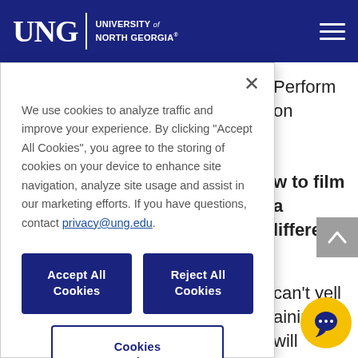UNG | University of North Georgia
We use cookies to analyze traffic and improve your experience. By clicking "Accept All Cookies", you agree to the storing of cookies on your device to enhance site navigation, analyze site usage and assist in our marketing efforts. If you have questions, contact privacy@ung.edu.
Accept All Cookies
Reject All Cookies
Cookies Settings
Perform on
w to film a different
can't yell aining it will and for us, he final velopmental produce ality of vers